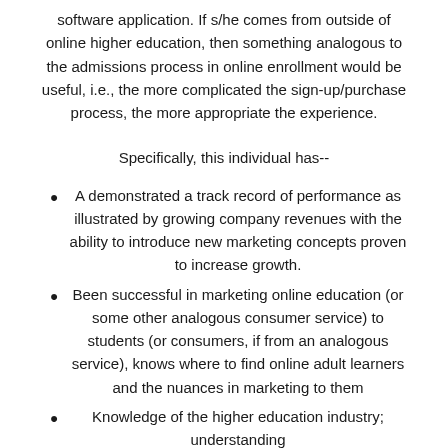software application. If s/he comes from outside of online higher education, then something analogous to the admissions process in online enrollment would be useful, i.e., the more complicated the sign-up/purchase process, the more appropriate the experience.
Specifically, this individual has--
A demonstrated a track record of performance as illustrated by growing company revenues with the ability to introduce new marketing concepts proven to increase growth.
Been successful in marketing online education (or some other analogous consumer service) to students (or consumers, if from an analogous service), knows where to find online adult learners and the nuances in marketing to them
Knowledge of the higher education industry; understanding